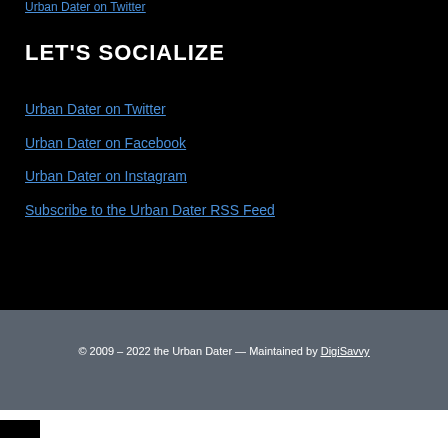Urban Dater on Twitter
LET'S SOCIALIZE
Urban Dater on Twitter
Urban Dater on Facebook
Urban Dater on Instagram
Subscribe to the Urban Dater RSS Feed
© 2009 – 2022 the Urban Dater — Maintained by DigiSavvy